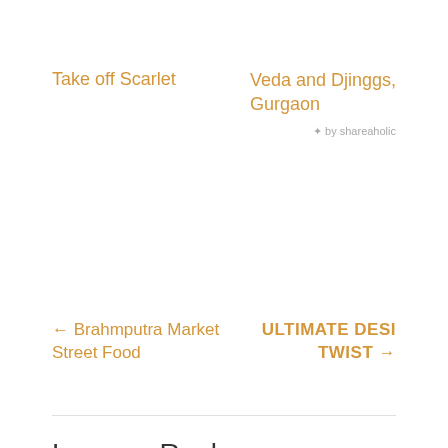Take off Scarlet
Veda and Djinggs, Gurgaon
✦ by shareaholic
← Brahmputra Market Street Food
ULTIMATE DESI TWIST →
Leave a Reply
Your email address will not be published. Required